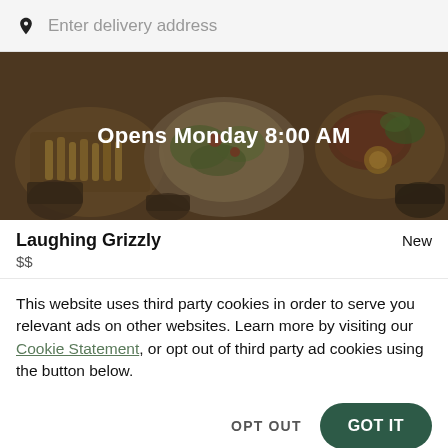Enter delivery address
[Figure (photo): Food delivery app hero image showing various dishes (fries, salads, steaks) on plates with dark overlay and text 'Opens Monday 8:00 AM']
Laughing Grizzly
New
$$
This website uses third party cookies in order to serve you relevant ads on other websites. Learn more by visiting our Cookie Statement, or opt out of third party ad cookies using the button below.
OPT OUT
GOT IT